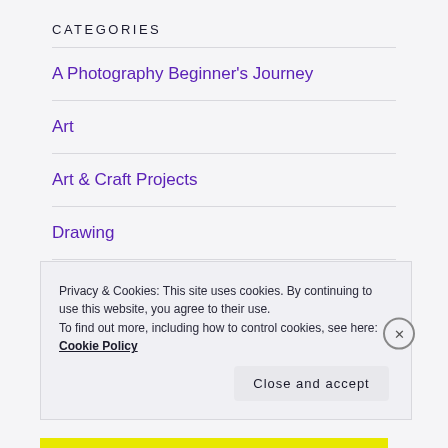CATEGORIES
A Photography Beginner's Journey
Art
Art & Craft Projects
Drawing
Farmlife
Privacy & Cookies: This site uses cookies. By continuing to use this website, you agree to their use.
To find out more, including how to control cookies, see here: Cookie Policy
Close and accept